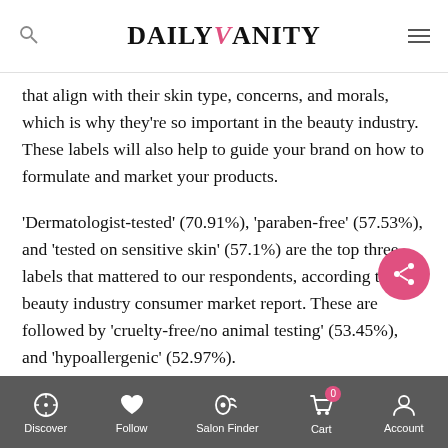DAILY VANITY
that align with their skin type, concerns, and morals, which is why they're so important in the beauty industry. These labels will also help to guide your brand on how to formulate and market your products.
'Dermatologist-tested' (70.91%), 'paraben-free' (57.53%), and 'tested on sensitive skin' (57.1%) are the top three labels that mattered to our respondents, according to this beauty industry consumer market report. These are followed by 'cruelty-free/no animal testing' (53.45%), and 'hypoallergenic' (52.97%).
Often associated with natural beauty, 'clean beauty' is a label that has trended in recent years. Clean beauty products are said to contain non-toxic ingredients and have transparent labels that disclose all ingredients to their consumers. However, the 'clean
Discover  Follow  Salon Finder  Cart 0  Account